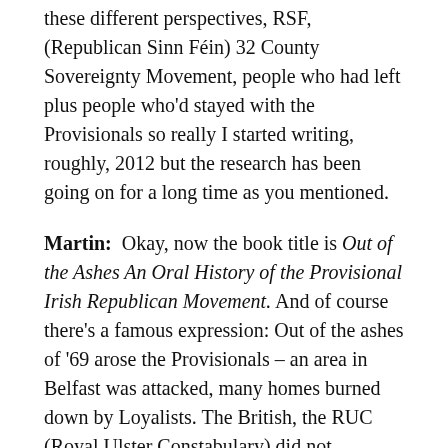these different perspectives, RSF, (Republican Sinn Féin) 32 County Sovereignty Movement, people who had left plus people who'd stayed with the Provisionals so really I started writing, roughly, 2012 but the research has been going on for a long time as you mentioned.
Martin:  Okay, now the book title is Out of the Ashes An Oral History of the Provisional Irish Republican Movement. And of course there's a famous expression: Out of the ashes of '69 arose the Provisionals – an area in Belfast was attacked, many homes burned down by Loyalists. The British, the RUC (Royal Ulster Constabulary) did not intervene to protect them and there was a feeling that the IRA had not been there to defend the area and that's